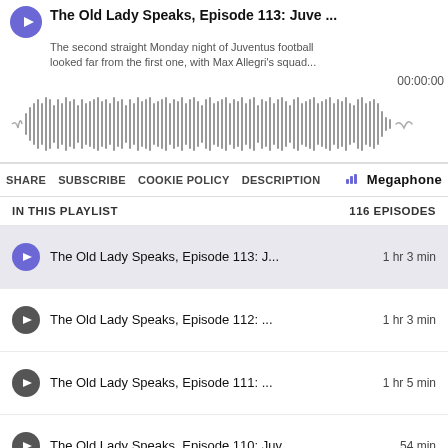The Old Lady Speaks, Episode 113: Juve ...
The second straight Monday night of Juventus football looked far from the first one, with Max Allegri's squad...
00:00:00
[Figure (other): Audio waveform visualization showing grey vertical bars of varying heights representing the podcast audio waveform]
SHARE  SUBSCRIBE  COOKIE POLICY  DESCRIPTION  Megaphone
IN THIS PLAYLIST   116 EPISODES
The Old Lady Speaks, Episode 113: J...  1 hr 3 min
The Old Lady Speaks, Episode 112: ...  1 hr 3 min
The Old Lady Speaks, Episode 111: ...  1 hr 5 min
The Old Lady Speaks, Episode 110: Juv...  54 min
The Old Lady Speaks, Episode 109: ...  1 hr 7 min